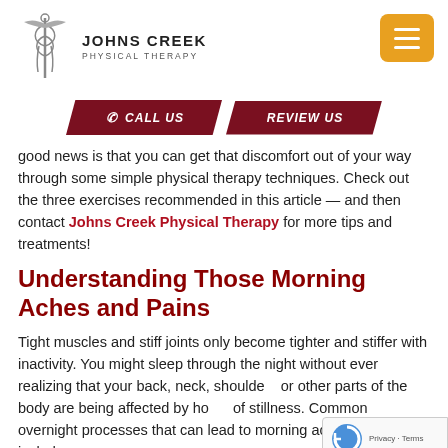JOHNS CREEK PHYSICAL THERAPY
good news is that you can get that discomfort out of your way through some simple physical therapy techniques. Check out the three exercises recommended in this article — and then contact Johns Creek Physical Therapy for more tips and treatments!
Understanding Those Morning Aches and Pains
Tight muscles and stiff joints only become tighter and stiffer with inactivity. You might sleep through the night without ever realizing that your back, neck, shoulders, or other parts of the body are being affected by hours of stillness. Common overnight processes that can lead to morning aches and pains include: